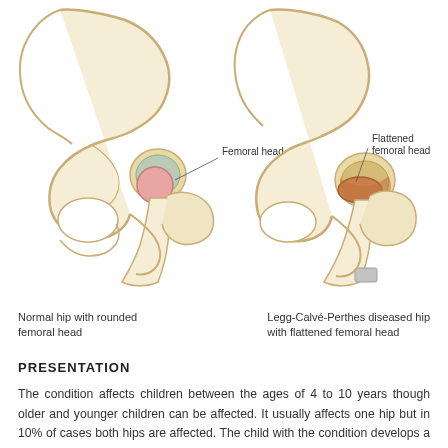[Figure (illustration): Two anatomical illustrations of the hip joint side by side. Left: Normal hip with rounded femoral head, labeled 'Femoral head'. Right: Legg-Calvé-Perthes diseased hip with flattened femoral head, labeled 'Flattened femoral head'. Both show pelvic and femoral bone structures in a cross-sectional diagram style with colored cartilage regions.]
Normal hip with rounded femoral head
Legg-Calvé-Perthes diseased hip with flattened femoral head
PRESENTATION
The condition affects children between the ages of 4 to 10 years though older and younger children can be affected. It usually affects one hip but in 10% of cases both hips are affected. The child with the condition develops a limp which worsens gradually. There is usually pain in the knee, thigh or groin when the child attempts to put weight on the leg or